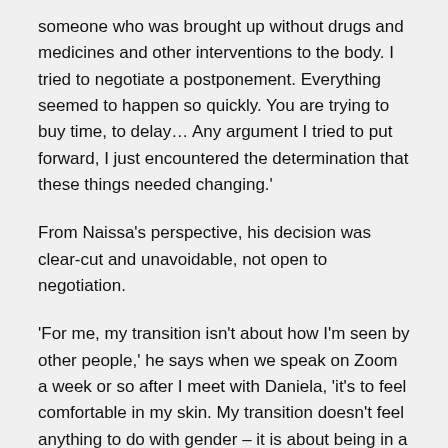someone who was brought up without drugs and medicines and other interventions to the body. I tried to negotiate a postponement. Everything seemed to happen so quickly. You are trying to buy time, to delay… Any argument I tried to put forward, I just encountered the determination that these things needed changing.'
From Naissa's perspective, his decision was clear-cut and unavoidable, not open to negotiation.
'For me, my transition isn't about how I'm seen by other people,' he says when we speak on Zoom a week or so after I meet with Daniela, 'it's to feel comfortable in my skin. My transition doesn't feel anything to do with gender – it is about being in a body I want to live in – becoming myself, not becoming a man.'
So there we have it: two very different points of view. Two people – a parent and their adult child – who love each other